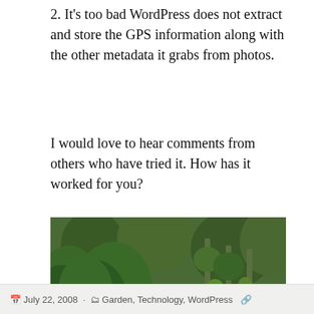2. It's too bad WordPress does not extract and store the GPS information along with the other metadata it grabs from photos.
I would love to hear comments from others who have tried it. How has it worked for you?
[Figure (photo): Garden photo showing green leafy plants, pepper plants and other vegetation growing in a garden bed with soil visible at the base.]
July 22, 2008 · Garden, Technology, WordPress